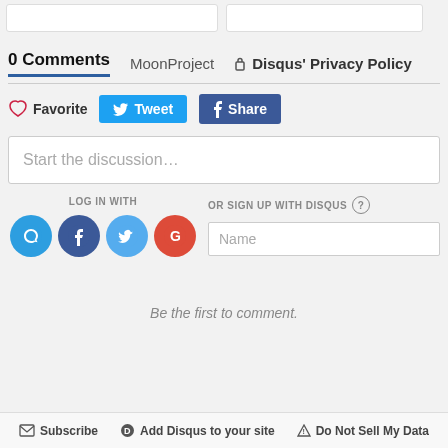[Figure (screenshot): Top card placeholders (two white rectangular boxes)]
0 Comments  MoonProject  🔒 Disqus' Privacy Policy
❤ Favorite  Tweet  f Share
Start the discussion…
LOG IN WITH
OR SIGN UP WITH DISQUS ?
Name
Be the first to comment.
✉ Subscribe   Ⓓ Add Disqus to your site   ▲ Do Not Sell My Data